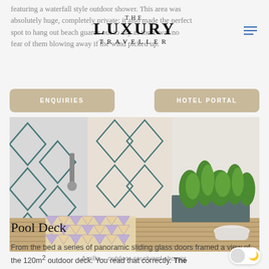featuring a waterfall style outdoor shower. This area was absolutely huge, completely private; it also made the perfect spot to hang out beach guards out to dry as there was no fear of them blowing away if the wind picked up.
[Figure (logo): The Luxury Traveller logo with hamburger menu icon]
[Figure (other): Navigation buttons: ENQUIRIES and HOTEL PORTAL on tan/beige background]
[Figure (photo): Amilla outdoor courtyard shower area with geometric diamond-patterned tiled walls in teal/blue, wooden deck flooring, colorful geometric floor tiles, tropical plant planter box, white stool, and shower fixture on concrete wall]
Amilla – outdoor courtyard shower.
Pool Deck
From the bed a series of panoramic sliding glass doors framed a view of the 120m² outdoor deck. You read that correctly. The